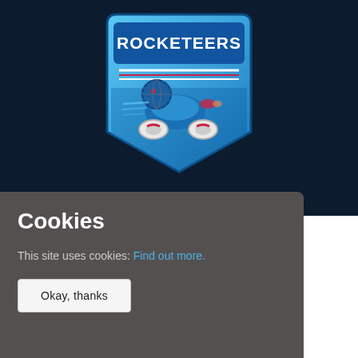[Figure (logo): Rocketeers logo — a blue shield with the word ROCKETEERS in dark blue text at the top, featuring a stylized rocket car (Rocket League car) with speed lines and red/white accents on a dark navy background.]
Cookies
This site uses cookies: Find out more.
Okay, thanks
High school Rocket League fan trying to improve his writing. Either playing sports or grinding